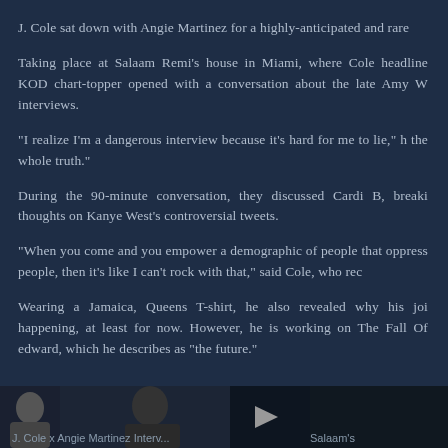J. Cole sat down with Angie Martinez for a highly-anticipated and rare
Taking place at Salaam Remi's house in Miami, where Cole headline KOD chart-topper opened with a conversation about the late Amy W interviews.
“I realize I’m a dangerous interview because it’s hard for me to lie,” h the whole truth.”
During the 90-minute conversation, they discussed Cardi B, breaki thoughts on Kanye West’s controversial tweets.
“When you come and you empower a demographic of people that oppress people, then it’s like I can’t rock with that,” said Cole, who rec
Wearing a Jamaica, Queens T-shirt, he also revealed why his joi happening, at least for now. However, he is working on The Fall Of edward, which he describes as “the future.”
J. Cole x Angie Martinez Interv... Salaam’s